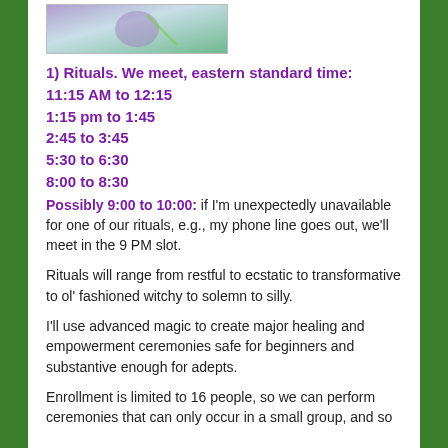[Figure (photo): Partial image showing colorful abstract or decorative art with purple, teal, and green tones]
1) Rituals. We meet, eastern standard time:
11:15 AM to 12:15
1:15 pm to 1:45
2:45 to 3:45
5:30 to 6:30
8:00 to 8:30
Possibly 9:00 to 10:00: if I'm unexpectedly unavailable for one of our rituals, e.g., my phone line goes out, we'll meet in the 9 PM slot.
Rituals will range from restful to ecstatic to transformative to ol' fashioned witchy to solemn to silly.
I'll use advanced magic to create major healing and empowerment ceremonies safe for beginners and substantive enough for adepts.
Enrollment is limited to 16 people, so we can perform ceremonies that can only occur in a small group, and so